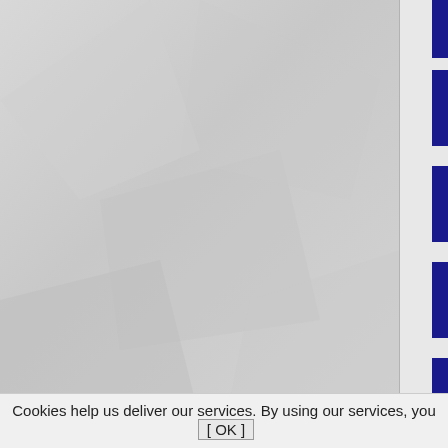76 The Riff Randells (Punk,...)
76 Naked Raygun (Punk, Alt...)
76 The Retros (Power Pop, ...)
76 The Fialky (Punk, Power...)
76 Sonic Dolls (Punk, Powe...)
76 Jetz (Power Pop, Punk, M...)
76 Legendary Wings (Punk,...)
76 The Vacant Lot (Power P...)
76 First Alert (Punk, Power P...)
76 Die Suurbiers (Punk, Pow...)
Cookies help us deliver our services. By using our services, you [ OK ]